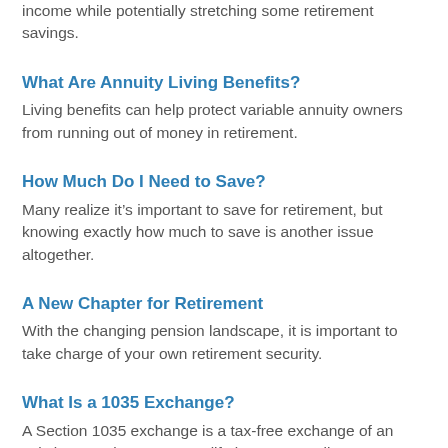income while potentially stretching some retirement savings.
What Are Annuity Living Benefits?
Living benefits can help protect variable annuity owners from running out of money in retirement.
How Much Do I Need to Save?
Many realize it’s important to save for retirement, but knowing exactly how much to save is another issue altogether.
A New Chapter for Retirement
With the changing pension landscape, it is important to take charge of your own retirement security.
What Is a 1035 Exchange?
A Section 1035 exchange is a tax-free exchange of an existing annuity contract or life insurance policy